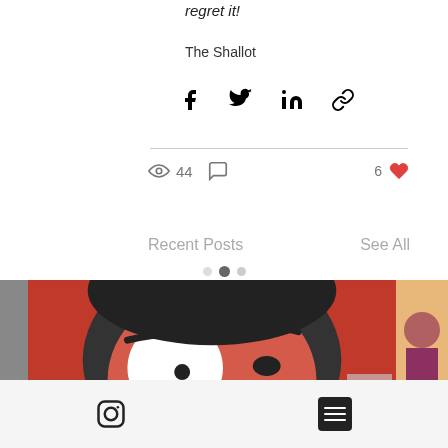regret it!
The Shallot
[Figure (infographic): Social share icons: Facebook, Twitter, LinkedIn, link/chain]
[Figure (infographic): Stats row: eye icon with 44 views, comment bubble icon, 6 heart likes]
Recent Posts
See All
[Figure (photo): Carousel of recent post thumbnails. Center image shows a red-toned graphic illustration of a person's face with one large white eye, partial text 'CAUT' in purple/pink at bottom right. Left side shows gray thumbnail. Right side shows partial warm-toned thumbnail.]
Instagram icon and list/menu icon in footer bar